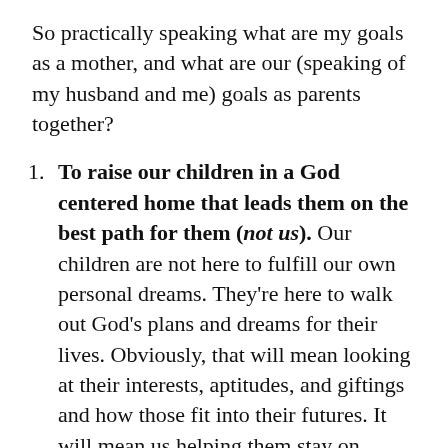So practically speaking what are my goals as a mother, and what are our (speaking of my husband and me) goals as parents together?
To raise our children in a God centered home that leads them on the best path for them (not us). Our children are not here to fulfill our own personal dreams. They're here to walk out God's plans and dreams for their lives. Obviously, that will mean looking at their interests, aptitudes, and giftings and how those fit into their futures. It will mean us helping them stay on course and have realistic, God centered dreams. That's why it's so important that in doing that, we give them a solid foundation in Christ and